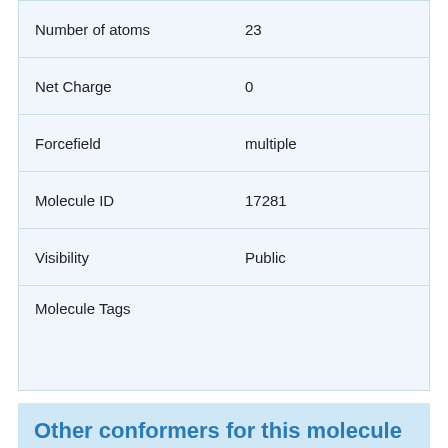| Property | Value |
| --- | --- |
| Number of atoms | 23 |
| Net Charge | 0 |
| Forcefield | multiple |
| Molecule ID | 17281 |
| Visibility | Public |
| Molecule Tags |  |
Other conformers for this molecule (1-100 of 633)
The highlighted row is the currently viewed molecule with the following conditions: Green: the current molecule has the lowest QM energy in the set. Yellow: the current molecule is within 2 kJ mol-1 of the